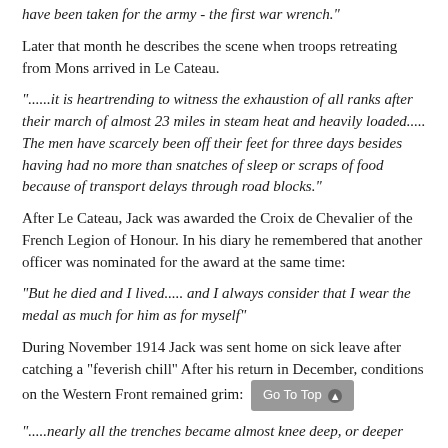have been taken for the army - the first war wrench."
Later that month he describes the scene when troops retreating from Mons arrived in Le Cateau.
"......it is heartrending to witness the exhaustion of all ranks after their march of almost 23 miles in steam heat and heavily loaded..... The men have scarcely been off their feet for three days besides having had no more than snatches of sleep or scraps of food because of transport delays through road blocks."
After Le Cateau, Jack was awarded the Croix de Chevalier of the French Legion of Honour. In his diary he remembered that another officer was nominated for the award at the same time:
"But he died and I lived..... and I always consider that I wear the medal as much for him as for myself"
During November 1914 Jack was sent home on sick leave after catching a "feverish chill" After his return in December, conditions on the Western Front remained grim:
".....nearly all the trenches became almost knee deep, or deeper